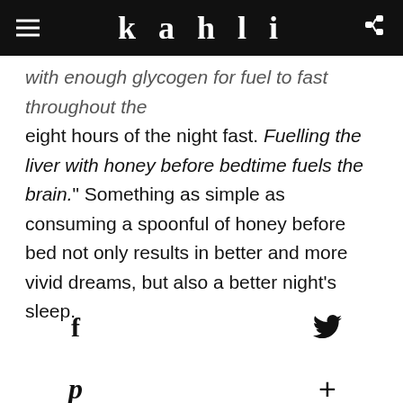kahli
with enough glycogen for fuel to fast throughout the eight hours of the night fast. Fuelling the liver with honey before bedtime fuels the brain." Something as simple as consuming a spoonful of honey before bed not only results in better and more vivid dreams, but also a better night’s sleep.
[Figure (other): Social sharing icons: Facebook (f), Twitter (bird), Pinterest (P), and Google+ (+) buttons arranged in a 2x2 grid]